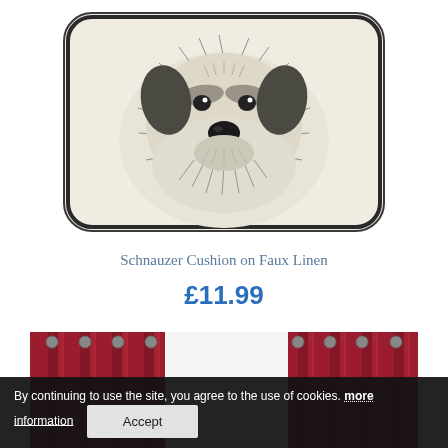[Figure (photo): A decorative cushion with a sketch/illustration of a Schnauzer dog face printed in dark charcoal/black on a cream/off-white faux linen fabric, with a dark piped border around the cushion edges.]
Schnauzer Cushion on Faux Linen
£11.99
[Figure (photo): Partial view of dark red/crimson eyelet curtains hanging in front of a light background.]
By continuing to use the site, you agree to the use of cookies. more information
Accept